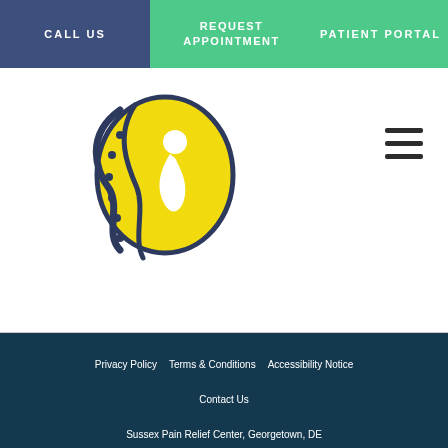CALL US | REQUEST APPOINTMENT | PATIENT PORTAL
[Figure (logo): Sussex Pain Relief Center logo: circular emblem with spine/wave imagery and yellow circle with white human figure, dark outline strokes]
[Figure (other): Hamburger menu icon — three horizontal dark lines]
Privacy Policy   Terms & Conditions   Accessibility Notice   Contact Us   Sussex Pain Relief Center, Georgetown, DE